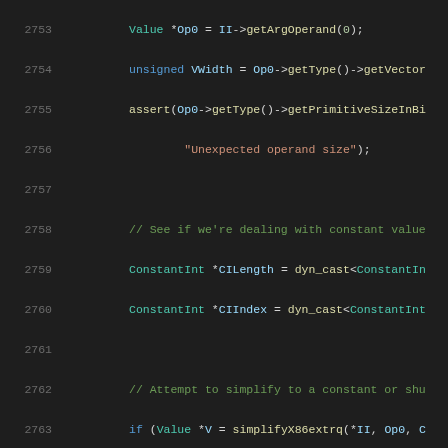[Figure (screenshot): Source code screenshot showing C++ code lines 2753-2773 with syntax highlighting on dark background. Code involves X86 intrinsic instruction simplification including getArgOperand, getType, getVectorNumElements, assert, dyn_cast, simplifyX86extrq, replaceInstUsesWith, SimplifyDemandedVectorEltsLo, setArgOperand calls.]